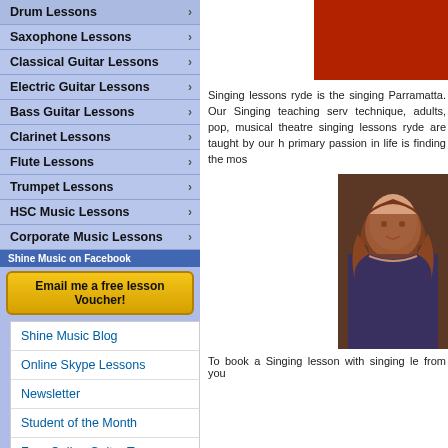Drum Lessons
Saxophone Lessons
Classical Guitar Lessons
Electric Guitar Lessons
Bass Guitar Lessons
Clarinet Lessons
Flute Lessons
Trumpet Lessons
HSC Music Lessons
Corporate Music Lessons
Shine Music on Facebook
Email me a free lesson Voucher!
Shine Music Blog
Online Skype Lessons
Newsletter
Student of the Month
Free Online Guitar Tuner
[Figure (photo): Red banner/logo image at top right]
Singing lessons ryde is the singing Parramatta. Our Singing teaching serv technique, adults, pop, musical theatre singing lessons ryde are taught by our h primary passion in life is finding the mos
[Figure (photo): Photo of a young woman with long red-brown hair, smiling]
To book a Singing lesson with singing le from you